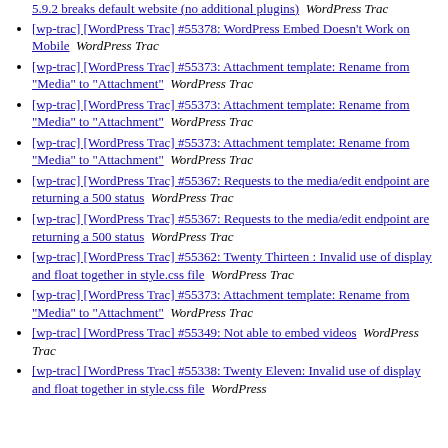5.9.2 breaks default website (no additional plugins)  WordPress Trac
[wp-trac] [WordPress Trac] #55378: WordPress Embed Doesn't Work on Mobile  WordPress Trac
[wp-trac] [WordPress Trac] #55373: Attachment template: Rename from "Media" to "Attachment"  WordPress Trac
[wp-trac] [WordPress Trac] #55373: Attachment template: Rename from "Media" to "Attachment"  WordPress Trac
[wp-trac] [WordPress Trac] #55373: Attachment template: Rename from "Media" to "Attachment"  WordPress Trac
[wp-trac] [WordPress Trac] #55367: Requests to the media/edit endpoint are returning a 500 status  WordPress Trac
[wp-trac] [WordPress Trac] #55367: Requests to the media/edit endpoint are returning a 500 status  WordPress Trac
[wp-trac] [WordPress Trac] #55362: Twenty Thirteen : Invalid use of display and float together in style.css file  WordPress Trac
[wp-trac] [WordPress Trac] #55373: Attachment template: Rename from "Media" to "Attachment"  WordPress Trac
[wp-trac] [WordPress Trac] #55349: Not able to embed videos  WordPress Trac
[wp-trac] [WordPress Trac] #55338: Twenty Eleven: Invalid use of display and float together in style.css file  WordPress